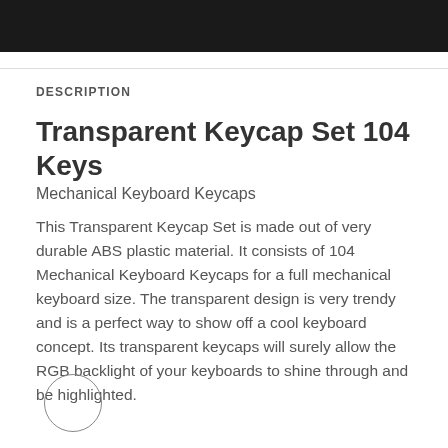[Figure (photo): Dark banner image at top of page showing keyboard product photography]
DESCRIPTION
Transparent Keycap Set 104 Keys
Mechanical Keyboard Keycaps
This Transparent Keycap Set is made out of very durable ABS plastic material. It consists of 104 Mechanical Keyboard Keycaps for a full mechanical keyboard size. The transparent design is very trendy and is a perfect way to show off a cool keyboard concept. Its transparent keycaps will surely allow the RGB backlight of your keyboards to shine through and be highlighted.